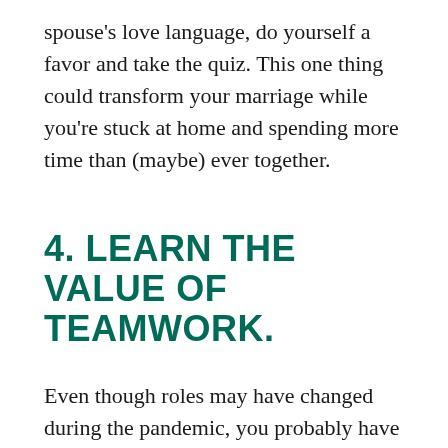spouse's love language, do yourself a favor and take the quiz. This one thing could transform your marriage while you're stuck at home and spending more time than (maybe) ever together.
4. LEARN THE VALUE OF TEAMWORK.
Even though roles may have changed during the pandemic, you probably have the same objective as a couple—to keep all the balls up in the air and keep your relationship moving forward. If you're